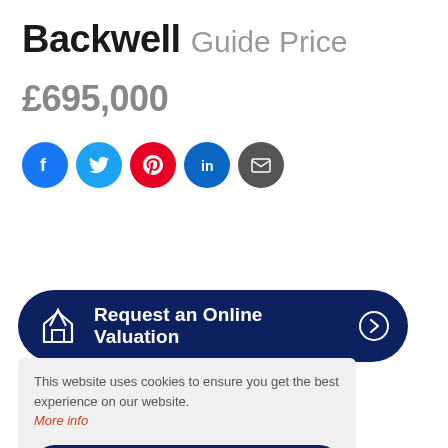Backwell Guide Price
£695,000
[Figure (infographic): Row of five social media share icons: Facebook (blue), Twitter (cyan), Pinterest (red), LinkedIn (blue), Email (dark grey)]
Request an Online Valuation
This website uses cookies to ensure you get the best experience on our website. More info
Got it!